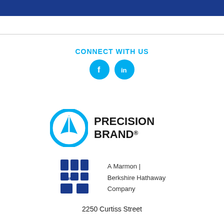CONNECT WITH US
[Figure (logo): Facebook and LinkedIn social media icons as cyan circles with white 'f' and 'in' logos]
[Figure (logo): Precision Brand logo with cyan circular icon and bold black text 'PRECISION BRAND.']
[Figure (logo): Marmon logo with dark blue stylized 'M' letters and text 'A Marmon | Berkshire Hathaway Company']
2250 Curtiss Street